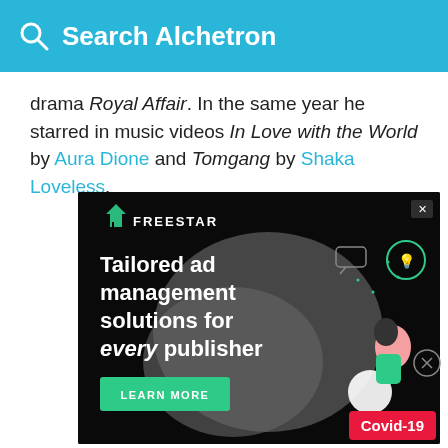Search Alchetron
drama Royal Affair. In the same year he starred in music videos In Love with the World by Aura Dione and Tomgang by Shaka Loveless.
[Figure (illustration): Freestar advertisement banner with dark background showing 'Tailored ad management solutions for every publisher' text, a Learn More button, grey blob shape, illustrated person with phone, lightbulb icon, and Covid-19 badge in bottom right corner.]